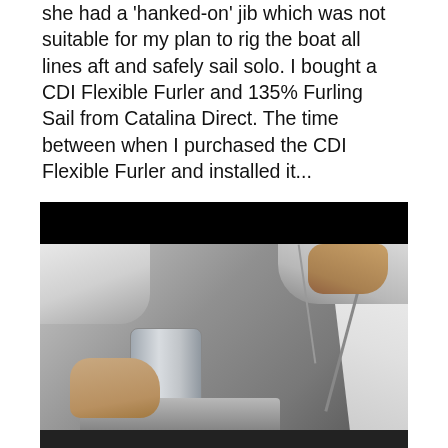she had a 'hanked-on' jib which was not suitable for my plan to rig the boat all lines aft and safely sail solo. I bought a CDI Flexible Furler and 135% Furling Sail from Catalina Direct. The time between when I purchased the CDI Flexible Furler and installed it...
[Figure (photo): Video screenshot showing hands installing a CDI Flexible Furler on a sailboat's forestay hardware at the bow. A cylindrical silver furler drum is visible, with rigging lines and boat hardware in the background. A black bar at the top indicates this is a video player screenshot.]